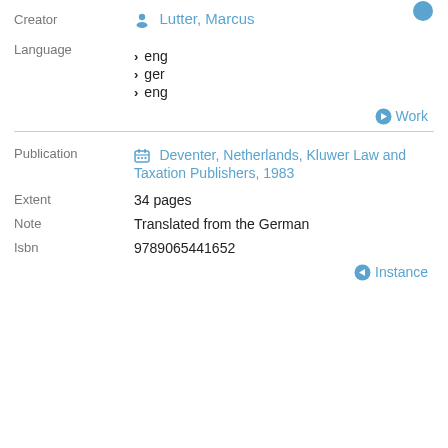Creator
Lutter, Marcus
Language
eng
ger
eng
Work
Publication
Deventer, Netherlands, Kluwer Law and Taxation Publishers, 1983
Extent
34 pages
Note
Translated from the German
Isbn
9789065441652
Instance